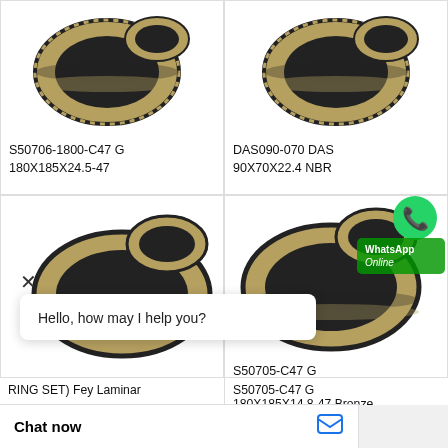[Figure (photo): Product photo of S50706-1800-C47 G seal ring with gold/bronze and black laminar coils, top-left]
S50706-1800-C47 G
180X185X24.5-47
[Figure (photo): Product photo of DAS090-070 DAS seal ring with gold/bronze and black laminar coils, top-right]
DAS090-070 DAS
90X70X22.4 NBR
[Figure (photo): Product photo of bottom-left seal ring (RING SET Fey Laminar), gold and black laminar coils]
RING SET) Fey Laminar
[Figure (photo): Product photo of S50705-C47 G seal ring with WhatsApp Online overlay, bottom-right, gold and black laminar coils]
S50705-C47 G
180X185X14.8-47 Bronze
Hello, how may I help you?
Chat now